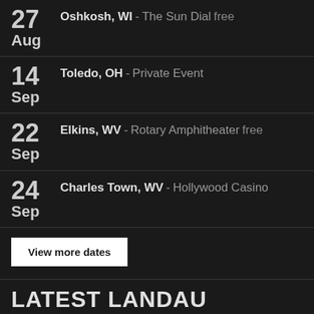27 Aug - Oshkosh, WI - The Sun Dial free
14 Sep - Toledo, OH - Private Event
22 Sep - Elkins, WV - Rotary Amphitheater free
24 Sep - Charles Town, WV - Hollywood Casino
View more dates
LATEST LANDAU PHOTOS
[Figure (photo): Strip of four concert/event photo thumbnails]